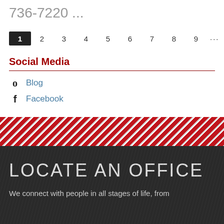736-7220 ...
1 2 3 4 5 6 7 8 9 … next › last »
Social Media
Blog
Facebook
[Figure (other): Diagonal red and white stripe decorative band]
LOCATE AN OFFICE
We connect with people in all stages of life, from